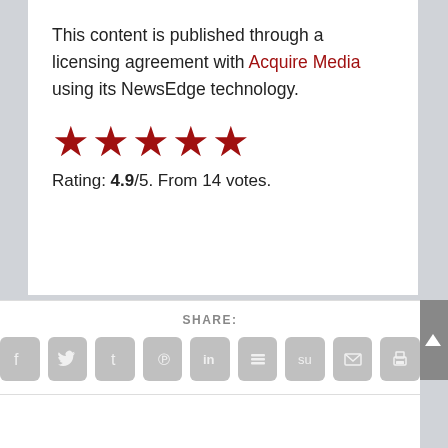This content is published through a licensing agreement with Acquire Media using its NewsEdge technology.
[Figure (other): Five red star rating icons]
Rating: 4.9/5. From 14 votes.
SHARE:
[Figure (other): Social share icon buttons: Facebook, Twitter, Tumblr, Pinterest, LinkedIn, Buffer, StumbleUpon, Email, Print]